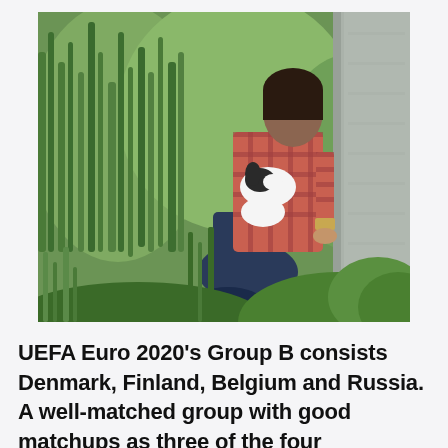[Figure (photo): A man with dark hair wearing a red plaid shirt sits with his back to the camera against a weathered wall or surface, surrounded by tall green grass. A dog (black and white, appears to be a terrier or similar breed) is beside him. The setting is outdoor, natural, green grass meadow.]
UEFA Euro 2020's Group B consists Denmark, Finland, Belgium and Russia. A well-matched group with good matchups as three of the four